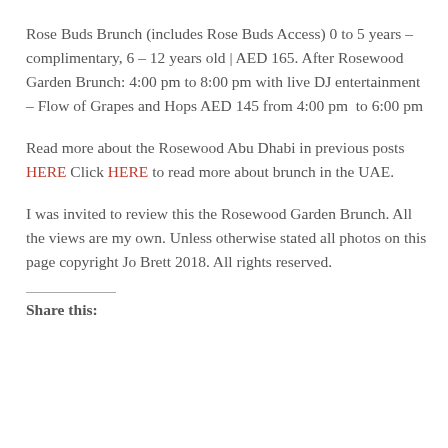Rose Buds Brunch (includes Rose Buds Access) 0 to 5 years – complimentary, 6 – 12 years old | AED 165. After Rosewood Garden Brunch: 4:00 pm to 8:00 pm with live DJ entertainment – Flow of Grapes and Hops AED 145 from 4:00 pm  to 6:00 pm
Read more about the Rosewood Abu Dhabi in previous posts HERE Click HERE to read more about brunch in the UAE.
I was invited to review this the Rosewood Garden Brunch. All the views are my own. Unless otherwise stated all photos on this page copyright Jo Brett 2018. All rights reserved.
Share this: